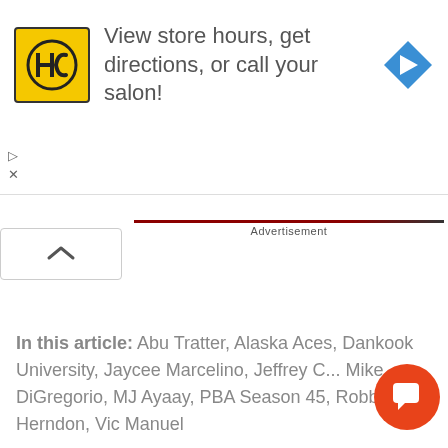[Figure (screenshot): Advertisement banner with HC logo (yellow square) and text 'View store hours, get directions, or call your salon!' with a blue navigation arrow icon on the right]
Advertisement
In this article: Abu Tratter, Alaska Aces, Dankook University, Jaycee Marcelino, Jeffrey C... Mike DiGregorio, MJ Ayaay, PBA Season 45, Robbie Herndon, Vic Manuel